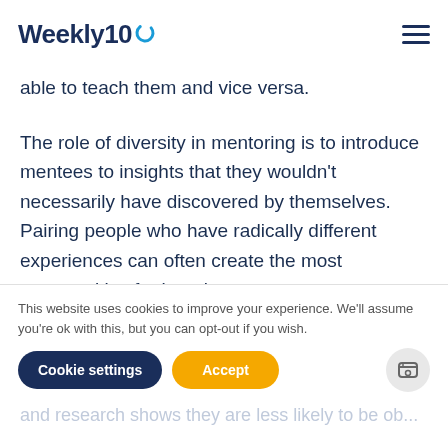Weekly10
able to teach them and vice versa.
The role of diversity in mentoring is to introduce mentees to insights that they wouldn't necessarily have discovered by themselves. Pairing people who have radically different experiences can often create the most opportunities for learning.
And, while we might generally think of mentorship as an "ool teach, you listen" sort of relationship, that's
This website uses cookies to improve your experience. We'll assume you're ok with this, but you can opt-out if you wish.
and research shows they are less likely to be ob...